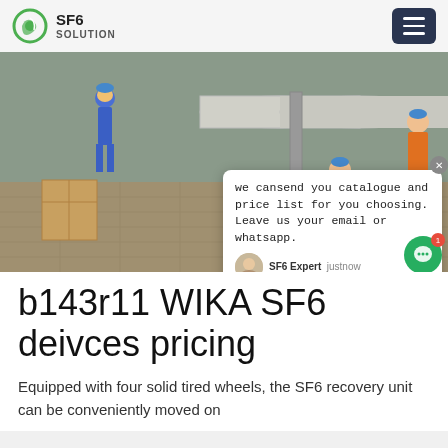SF6 SOLUTION
[Figure (photo): Workers in blue coveralls and hard hats working at an outdoor SF6 gas equipment installation site with large pipes and industrial hardware. A chat popup overlay is visible on the right side of the image.]
b143r11 WIKA SF6 deivces pricing
Equipped with four solid tired wheels, the SF6 recovery unit can be conveniently moved on